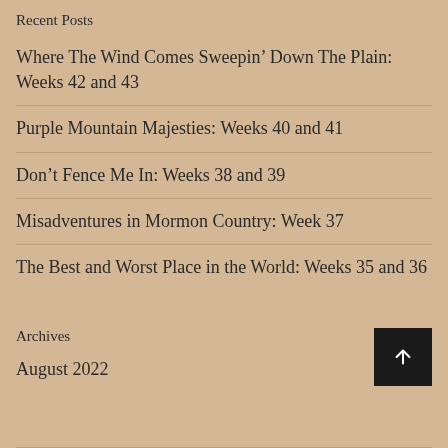Recent Posts
Where The Wind Comes Sweepin’ Down The Plain: Weeks 42 and 43
Purple Mountain Majesties: Weeks 40 and 41
Don’t Fence Me In: Weeks 38 and 39
Misadventures in Mormon Country: Week 37
The Best and Worst Place in the World: Weeks 35 and 36
Archives
August 2022